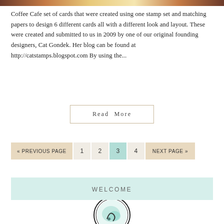[Figure (photo): Top decorative image bar with brown and tan tones]
Coffee Cafe set of cards that were created using one stamp set and matching papers to design 6 different cards all with a different look and layout. These were created and submitted to us in 2009 by one of our original founding designers, Cat Gondek. Her blog can be found at http://catstamps.blogspot.com By using the...
Read More
« PREVIOUS PAGE
1
2
3
4
NEXT PAGE »
WELCOME
[Figure (logo): Circular logo with mint/teal watercolor ink design on white background with black circular border]